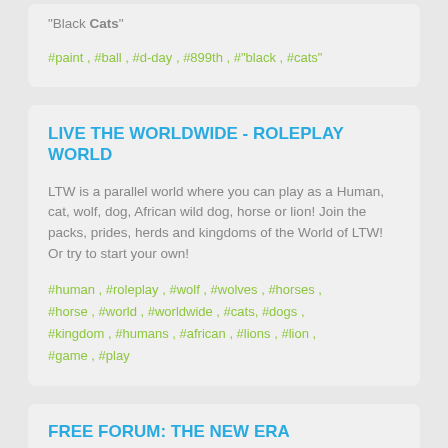"Black Cats"
#paint , #ball , #d-day , #899th , #"black , #cats"
LIVE THE WORLDWIDE - ROLEPLAY WORLD
LTW is a parallel world where you can play as a Human, cat, wolf, dog, African wild dog, horse or lion! Join the packs, prides, herds and kingdoms of the World of LTW! Or try to start your own!
#human , #roleplay , #wolf , #wolves , #horses , #horse , #world , #worldwide , #cats, #dogs , #kingdom , #humans , #african , #lions , #lion , #game , #play
FREE FORUM: THE NEW ERA
Free forum: A great place for roleplayers and...